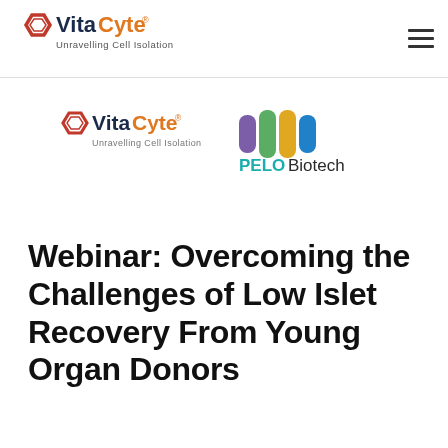VitaCyte — Unravelling Cell Isolation
[Figure (logo): VitaCyte logo with hexagon icon and tagline 'Unravelling Cell Isolation']
[Figure (logo): PELOBiotech logo with colorful M-shaped icon]
Webinar: Overcoming the Challenges of Low Islet Recovery From Young Organ Donors